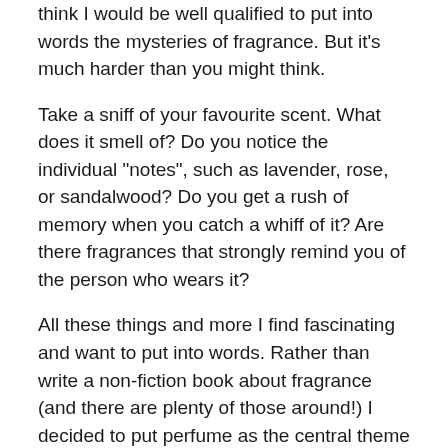think I would be well qualified to put into words the mysteries of fragrance. But it’s much harder than you might think.
Take a sniff of your favourite scent. What does it smell of? Do you notice the individual “notes”, such as lavender, rose, or sandalwood? Do you get a rush of memory when you catch a whiff of it? Are there fragrances that strongly remind you of the person who wears it?
All these things and more I find fascinating and want to put into words. Rather than write a non-fiction book about fragrance (and there are plenty of those around!) I decided to put perfume as the central theme of my novel The Perfume Muse.
But first, I needed to do some research, and where better than in Grasse, the world’s perfume capital? It was the